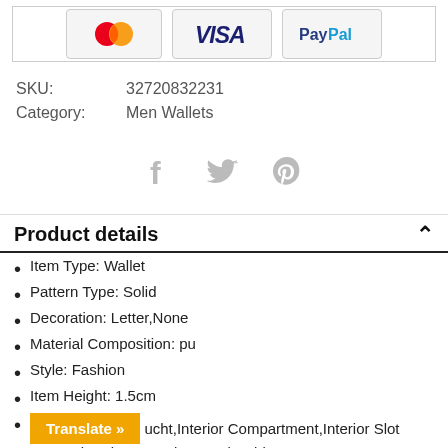[Figure (other): Payment method icons: MasterCard, VISA, PayPal]
SKU: 32720832231
Category: Men Wallets
[Figure (other): Social media icons: Facebook, Twitter, Pinterest]
Product details
Item Type: Wallet
Pattern Type: Solid
Decoration: Letter,None
Material Composition: pu
Style: Fashion
Item Height: 1.5cm
...ucht,Interior Compartment,Interior Slot
et,Interior Zipper Pocket,Card Holder,Note